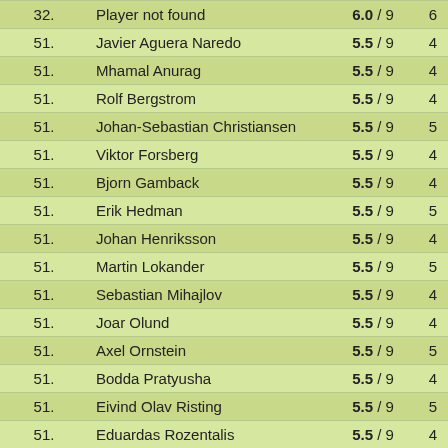| Rank | Name | Score |  |
| --- | --- | --- | --- |
| 32. | Player not found | 6.0 / 9 | 6 |
| 51. | Javier Aguera Naredo | 5.5 / 9 | 4 |
| 51. | Mhamal Anurag | 5.5 / 9 | 4 |
| 51. | Rolf Bergstrom | 5.5 / 9 | 4 |
| 51. | Johan-Sebastian Christiansen | 5.5 / 9 | 5 |
| 51. | Viktor Forsberg | 5.5 / 9 | 4 |
| 51. | Bjorn Gamback | 5.5 / 9 | 4 |
| 51. | Erik Hedman | 5.5 / 9 | 5 |
| 51. | Johan Henriksson | 5.5 / 9 | 4 |
| 51. | Martin Lokander | 5.5 / 9 | 5 |
| 51. | Sebastian Mihajlov | 5.5 / 9 | 4 |
| 51. | Joar Olund | 5.5 / 9 | 4 |
| 51. | Axel Ornstein | 5.5 / 9 | 5 |
| 51. | Bodda Pratyusha | 5.5 / 9 | 4 |
| 51. | Eivind Olav Risting | 5.5 / 9 | 5 |
| 51. | Eduardas Rozentalis | 5.5 / 9 | 4 |